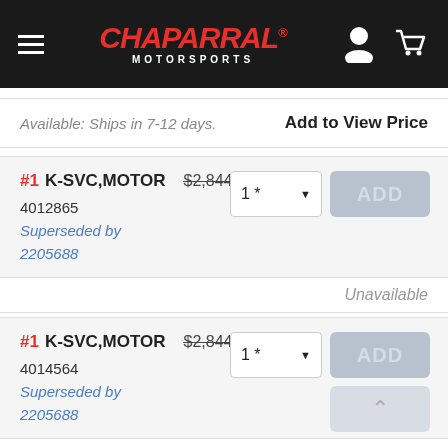Chaparral Motorsports
Available: Ships in 7-12 days.
Add to View Price
#1 K-SVC,MOTOR $2,844.99 4012865 Superseded by 2205688 Unavailable
#1 K-SVC,MOTOR $2,844.99 4014564 Superseded by 2205688 Unavailable